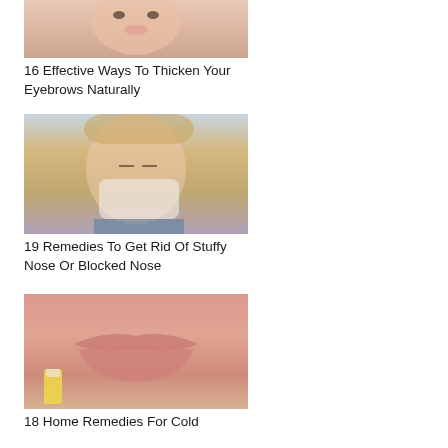[Figure (photo): Young woman with blonde hair and pink lipstick, close-up portrait shot from forehead to chin]
16 Effective Ways To Thicken Your Eyebrows Naturally
[Figure (photo): Blonde woman blowing her nose into a tissue, wearing blue shirt]
19 Remedies To Get Rid Of Stuffy Nose Or Blocked Nose
[Figure (photo): Close-up of chapped lips with a lip balm stick being applied]
18 Home Remedies For Cold